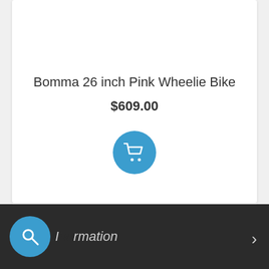Bomma 26 inch Pink Wheelie Bike
$609.00
[Figure (illustration): Blue circular add-to-cart button with white shopping cart icon]
[Figure (illustration): Blue circular search button with white magnifying glass icon]
Information